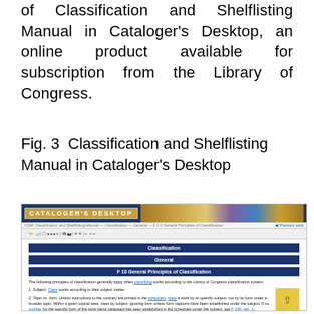of Classification and Shelflisting Manual in Cataloger's Desktop, an online product available for subscription from the Library of Congress.
Fig. 3  Classification and Shelflisting Manual in Cataloger's Desktop
[Figure (screenshot): Screenshot of Cataloger's Desktop showing the Classification and Shelflisting Manual interface with blue navigation bars labeled Classification, General, and F 10 General Principles of Classification, followed by explanatory text about classification principles.]